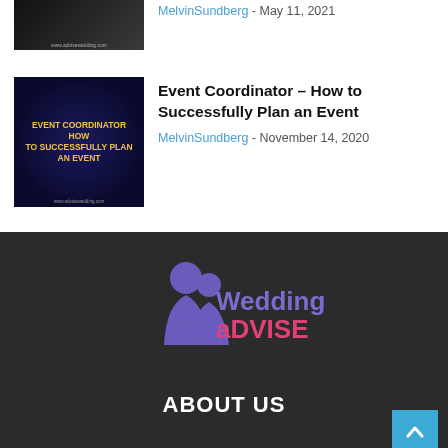[Figure (photo): Thumbnail image for a wedding/event article, dark background with website URL www.advisewedding.com]
MelvinSundberg - May 11, 2021
[Figure (photo): Event Coordinator How To Successfully Plan An Event thumbnail, dark blue radial background with yellow text, www.advisewedding.com]
Event Coordinator – How to Successfully Plan an Event
MelvinSundberg - November 14, 2020
[Figure (logo): Wedding Advise logo — purple silhouette of couple with Wedding in purple/white and aDVISE in pink/magenta text]
ABOUT US